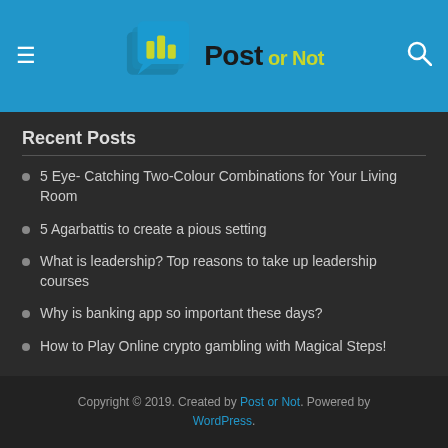Post or Not — website header with logo and navigation
Recent Posts
5 Eye- Catching Two-Colour Combinations for Your Living Room
5 Agarbattis to create a pious setting
What is leadership? Top reasons to take up leadership courses
Why is banking app so important these days?
How to Play Online crypto gambling with Magical Steps!
Copyright © 2019. Created by Post or Not. Powered by WordPress.